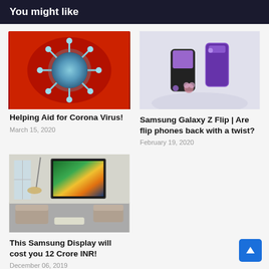You might like
[Figure (photo): Close-up microscope image of coronavirus particles on red background]
Helping Aid for Corona Virus!
March 15, 2020
[Figure (photo): Samsung Galaxy Z Flip phone in purple color, showing both open and closed positions]
Samsung Galaxy Z Flip | Are flip phones back with a twist?
February 19, 2020
[Figure (photo): Samsung large display TV showing nature landscape in modern living room]
This Samsung Display will cost you 12 Crore INR!
December 06, 2019